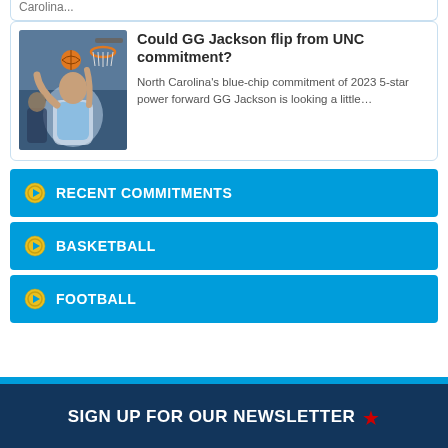Carolina...
Could GG Jackson flip from UNC commitment?
North Carolina's blue-chip commitment of 2023 5-star power forward GG Jackson is looking a little…
RECENT COMMITMENTS
BASKETBALL
FOOTBALL
SIGN UP FOR OUR NEWSLETTER